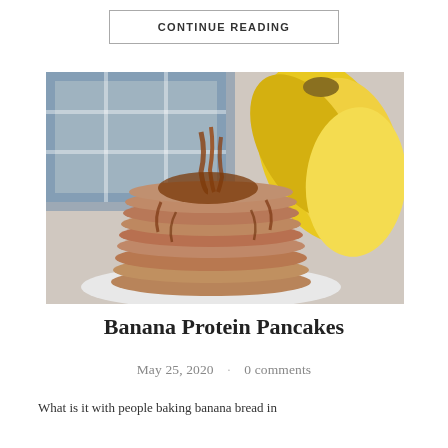CONTINUE READING
[Figure (photo): Stack of banana protein pancakes with syrup drizzling down, served on a white plate, with a bunch of ripe yellow bananas in the background and a blue plaid cloth.]
Banana Protein Pancakes
May 25, 2020   0 comments
What is it with people baking banana bread in